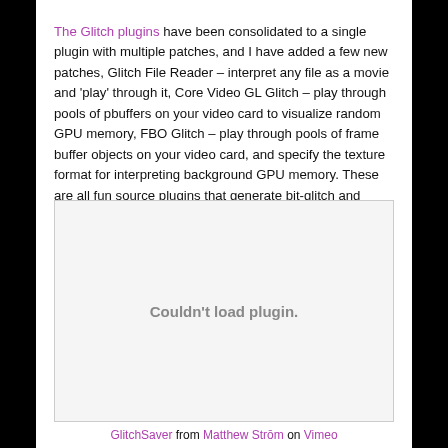The Glitch plugins have been consolidated to a single plugin with multiple patches, and I have added a few new patches, Glitch File Reader – interpret any file as a movie and 'play' through it, Core Video GL Glitch – play through pools of pbuffers on your video card to visualize random GPU memory, FBO Glitch – play through pools of frame buffer objects on your video card, and specify the texture format for interpreting background GPU memory. These are all fun source plugins that generate bit-glitch and interesting patterns. Here is a fun example of it being used as a screen saver for your Mac:
[Figure (other): Embedded video plugin area showing 'Couldn't load plugin.' message]
GlitchSaver from Matthew Strōm on Vimeo